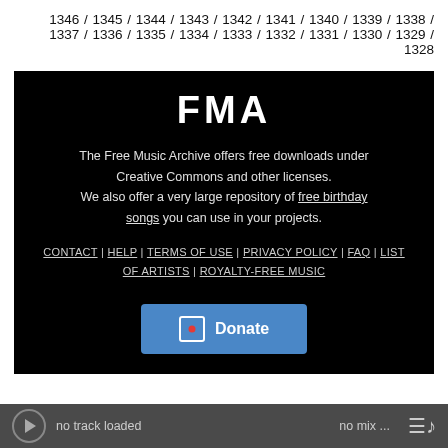1346 / 1345 / 1344 / 1343 / 1342 / 1341 / 1340 / 1339 / 1338 / 1337 / 1336 / 1335 / 1334 / 1333 / 1332 / 1331 / 1330 / 1329 / 1328
[Figure (other): FMA (Free Music Archive) footer banner with logo, description text, navigation links, and Donate button on black background]
no track loaded   no mix ...